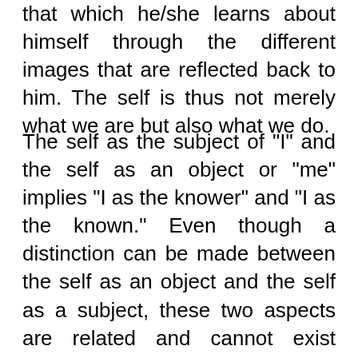that which he/she learns about himself through the different images that are reflected back to him. The self is thus not merely what we are but also what we do.
The self as the subject of "I" and the self as an object or "me" implies "I as the knower" and "I as the known." Even though a distinction can be made between the self as an object and the self as a subject, these two aspects are related and cannot exist independently. The self cannot exist apart from the person who experiences himself and is an executor of behavior. Mead explained a reciprocal interplay between the self as an object and the self as a subject.